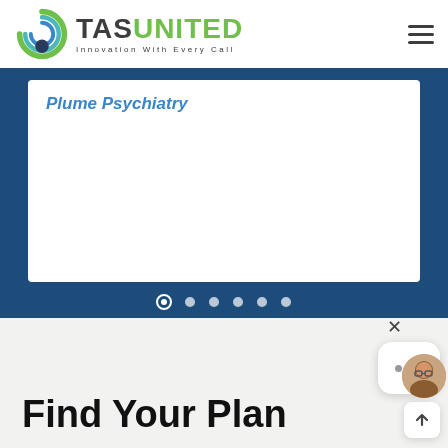[Figure (logo): TAS United logo with green circular icon and tagline 'Innovation With Every Call']
[Figure (screenshot): Website slider section with dark blue background showing a white card with 'Plume Psychiatry' link in blue italic text, and six navigation dots below]
Find Your Plan
[Figure (other): Chat widget with close X button, white rounded box with three dots, and a person avatar, plus an up-arrow scroll button]